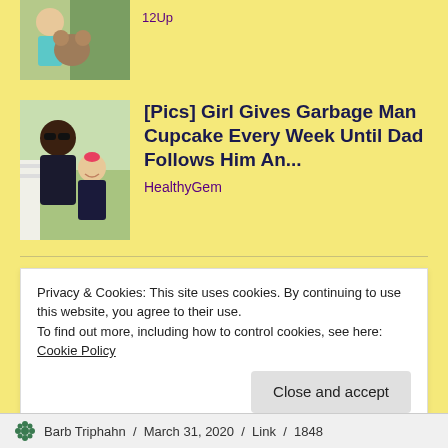[Figure (photo): Thumbnail photo of a child holding something, partial view at top]
12Up
[Figure (photo): Photo of a man and a young girl smiling together outdoors]
[Pics] Girl Gives Garbage Man Cupcake Every Week Until Dad Follows Him An...
HealthyGem
Share this:
Twitter
Facebook
Privacy & Cookies: This site uses cookies. By continuing to use this website, you agree to their use.
To find out more, including how to control cookies, see here:
Cookie Policy
Close and accept
Barb Triphahn / March 31, 2020 / Link / 1848